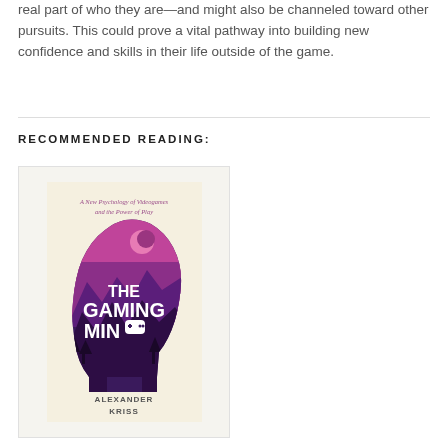real part of who they are—and might also be channeled toward other pursuits. This could prove a vital pathway into building new confidence and skills in their life outside of the game.
RECOMMENDED READING:
[Figure (illustration): Book cover of 'The Gaming Mind: A New Psychology of Videogames and the Power of Play' by Alexander Kriss. Shows a silhouette of a human head filled with a purple/magenta mountain landscape scene. The title 'THE GAMING MIND' is displayed prominently in white text, with a game controller icon replacing the letter O in MIND. The subtitle reads 'A New Psychology of Videogames and the Power of Play'. Author name 'ALEXANDER KRISS' is at the bottom.]